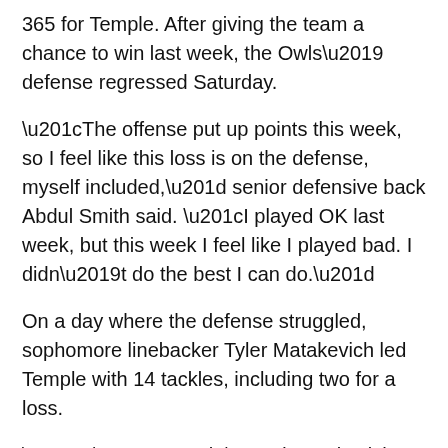365 for Temple. After giving the team a chance to win last week, the Owls’ defense regressed Saturday.
“The offense put up points this week, so I feel like this loss is on the defense, myself included,” senior defensive back Abdul Smith said. “I played OK last week, but this week I feel like I played bad. I didn’t do the best I can do.”
On a day where the defense struggled, sophomore linebacker Tyler Matakevich led Temple with 14 tackles, including two for a loss.
“It’s tough,” Matakevich said. “It’s definitely tough. I mean, nobody is going to give you a win. We definitely have to play better. We have to stop some big plays. A few times we gave up a few big plays. We just have to stop them.”
Temple had two sacks the entire game, amassing a total of six yards. In comparison, Fordham had four sacks that